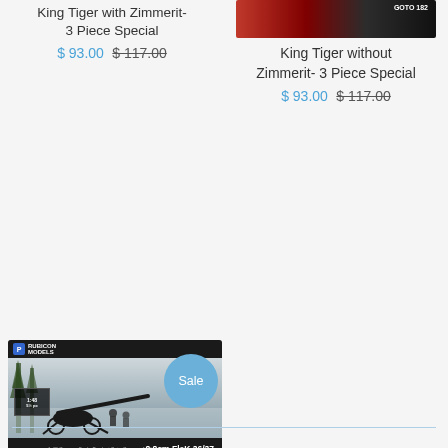King Tiger with Zimmerit- 3 Piece Special
$ 93.00 $ 117.00
[Figure (photo): Product box art image for King Tiger without Zimmerit - 3 Piece Special, showing a red and dark banner/header]
King Tiger without Zimmerit- 3 Piece Special
$ 93.00 $ 117.00
[Figure (photo): Rubicon Models box art for 8.8cm FlaK 36/37 German Artillery Gun AA/AT Gun with SdAh 202 & Crew, showing an artillery gun in a forest scene. Has a 'Sale' badge overlay.]